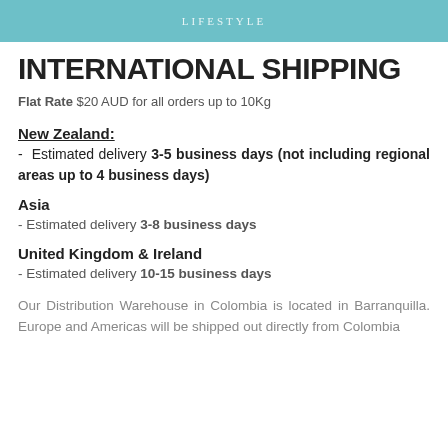LIFESTYLE
INTERNATIONAL SHIPPING
Flat Rate $20 AUD for all orders up to 10Kg
New Zealand:
- Estimated delivery 3-5 business days (not including regional areas up to 4 business days)
Asia
- Estimated delivery 3-8 business days
United Kingdom & Ireland
- Estimated delivery 10-15 business days
Our Distribution Warehouse in Colombia is located in Barranquilla. Europe and Americas will be shipped out directly from Colombia